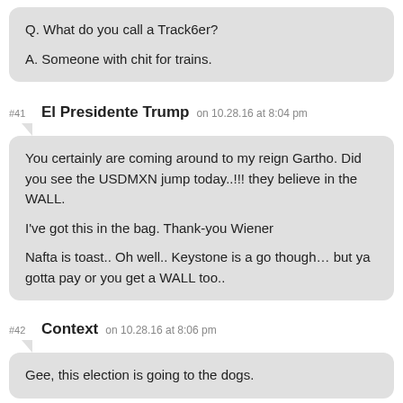Q. What do you call a Track6er?
A. Someone with chit for trains.
#41 El Presidente Trump on 10.28.16 at 8:04 pm
You certainly are coming around to my reign Gartho. Did you see the USDMXN jump today..!!! they believe in the WALL.

I've got this in the bag. Thank-you Wiener

Nafta is toast.. Oh well.. Keystone is a go though… but ya gotta pay or you get a WALL too..
#42 Context on 10.28.16 at 8:06 pm
Gee, this election is going to the dogs.
#43 Suede on 10.28.16 at 8:18 pm